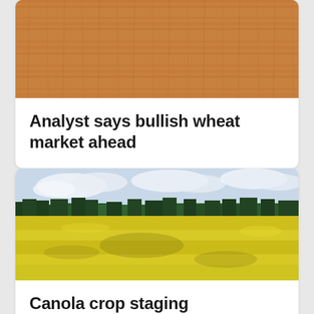[Figure (photo): Close-up of golden wheat grain texture filling the image]
Analyst says bullish wheat market ahead
[Figure (photo): Bright yellow canola field in bloom under a cloudy sky with a tree line in the background]
Canola crop staging